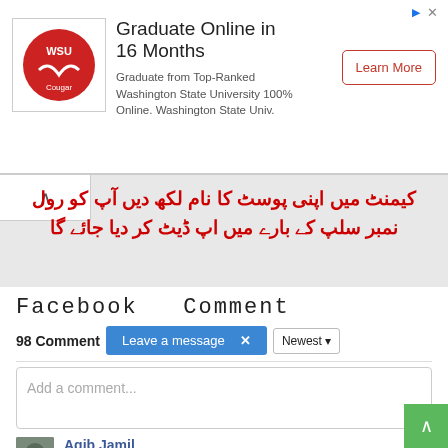[Figure (screenshot): Advertisement banner for Washington State University online graduate program. Shows WSU logo, headline 'Graduate Online in 16 Months', body text, and a 'Learn More' button.]
کیمنٹ میں اپنی پوسٹ کا نام لکھ دیں آپ کو رول نمبر سلپ کے بار کے میں اپ ڈیٹ کر دیا جائے گا
Facebook  Comment
98 Comments  Leave a message  ×  Newest
Add a comment...
Aqib Jamil
Sub Inspector
Like · Reply · Mark as spam · 12w